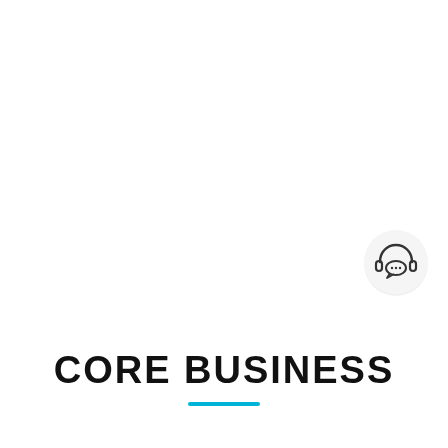[Figure (illustration): White blank upper section of a webpage with a circular chat/headset icon button in the lower right corner]
CORE BUSINESS